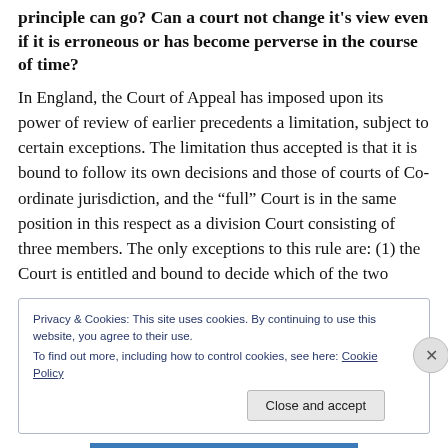principle can go? Can a court not change it's view even if it is erroneous or has become perverse in the course of time?
In England, the Court of Appeal has imposed upon its power of review of earlier precedents a limitation, subject to certain exceptions. The limitation thus accepted is that it is bound to follow its own decisions and those of courts of Co-ordinate jurisdiction, and the “full” Court is in the same position in this respect as a division Court consisting of three members. The only exceptions to this rule are: (1) the Court is entitled and bound to decide which of the two
Privacy & Cookies: This site uses cookies. By continuing to use this website, you agree to their use.
To find out more, including how to control cookies, see here: Cookie Policy